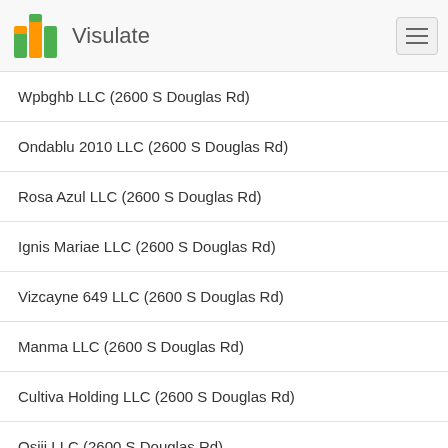Visulate
Wpbghb LLC (2600 S Douglas Rd)
Ondablu 2010 LLC (2600 S Douglas Rd)
Rosa Azul LLC (2600 S Douglas Rd)
Ignis Mariae LLC (2600 S Douglas Rd)
Vizcayne 649 LLC (2600 S Douglas Rd)
Manma LLC (2600 S Douglas Rd)
Cultiva Holding LLC (2600 S Douglas Rd)
Osiji LLC (2600 S Douglas Rd)
Mint 5109 LLC (2600 S Douglas Rd)
Met One 2704 LLC (2600 S Douglas Rd)